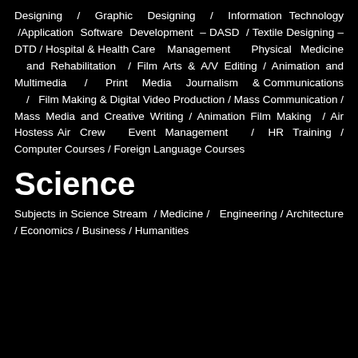Designing / Graphic Designing / Information Technology /Application Software Development – DASD / Textile Designing – DTD / Hospital & Health Care Management Physical Medicine and Rehabilitation / Film Arts & A/V Editing / Animation and Multimedia / Print Media Journalism & Communications / Film Making & Digital Video Production / Mass Communication / Mass Media and Creative Writing / Animation Film Making / Air Hostess Air Crew Event Management / HR Training / Computer Courses / Foreign Language Courses
Science
Subjects in Science Stream / Medicine / Engineering / Architecture / Economics / Business / Humanities